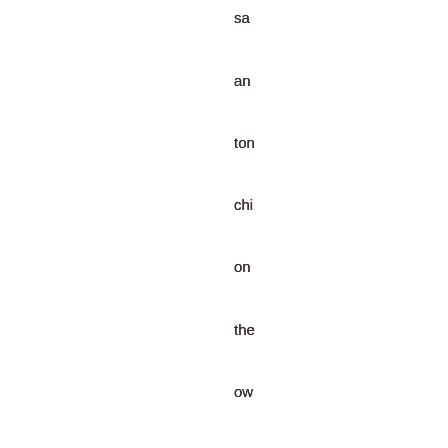sa
an
ton
chi
on
the
ow
an
I'd
als
ch
ac
the
wit
the
chi
frie